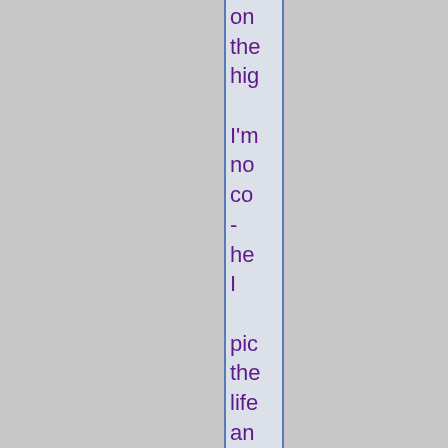on the hig I'm no co - he I pic the life an in fac ac wo to me